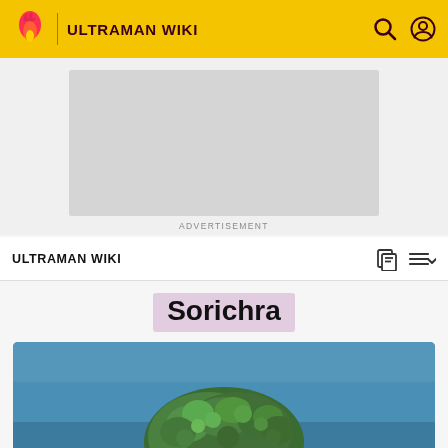ULTRAMAN WIKI
[Figure (screenshot): Advertisement placeholder box (grey rectangle)]
ADVERTISEMENT
ULTRAMAN WIKI
Sorichra
[Figure (photo): Photo of Sorichra monster/creature against a blue sky background, showing a green fuzzy/mossy textured creature]